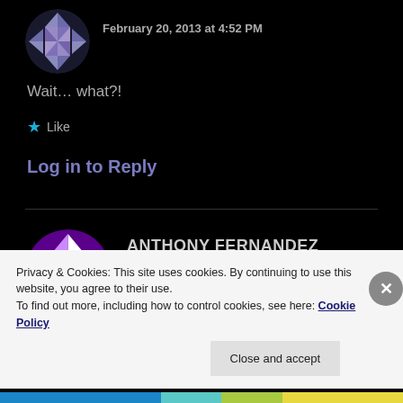[Figure (illustration): Circular avatar with blue/white geometric quilt pattern on dark background]
February 20, 2013 at 4:52 PM
Wait… what?!
★ Like
Log in to Reply
[Figure (illustration): Circular avatar with purple/white geometric quilt pattern]
ANTHONY FERNANDEZ
February 20, 2013 at 4:54 PM
Privacy & Cookies: This site uses cookies. By continuing to use this website, you agree to their use.
To find out more, including how to control cookies, see here: Cookie Policy
Close and accept